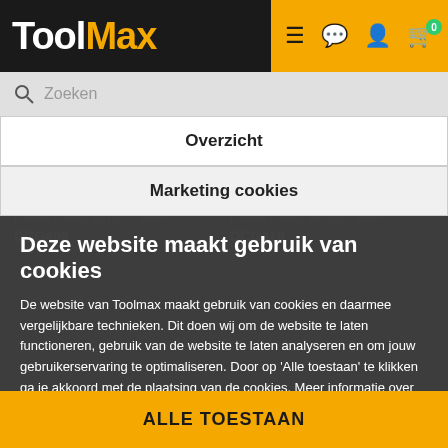ToolMax
Zoeken
Overzicht
Marketing cookies
Deze website maakt gebruik van cookies
De website van Toolmax maakt gebruik van cookies en daarmee vergelijkbare technieken. Dit doen wij om de website te laten functioneren, gebruik van de website te laten analyseren en om jouw gebruikerservaring te optimaliseren. Door op ‘Alle toestaan’ te klikken ga je akkoord met de plaatsing van de cookies. Meer informatie over cookies vind je in ons cookie overzicht.
ALLE TOESTAAN